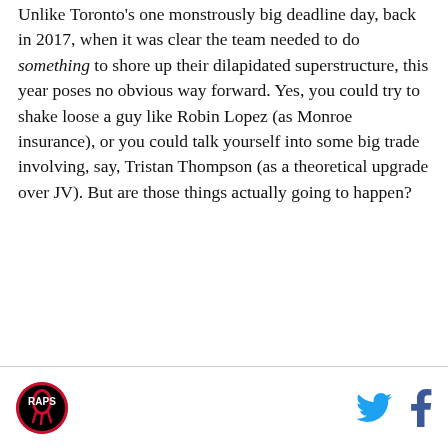Unlike Toronto's one monstrously big deadline day, back in 2017, when it was clear the team needed to do something to shore up their dilapidated superstructure, this year poses no obvious way forward. Yes, you could try to shake loose a guy like Robin Lopez (as Monroe insurance), or you could talk yourself into some big trade involving, say, Tristan Thompson (as a theoretical upgrade over JV). But are those things actually going to happen?
[Figure (logo): Toronto Raptors logo circle — black circle with red background and raptor claw graphic]